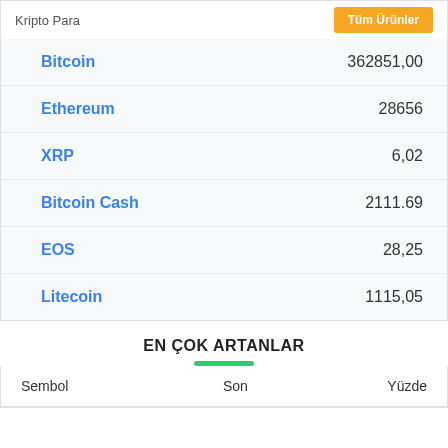Kripto Para — Tüm Ürünler
|  |  |
| --- | --- |
| Bitcoin | 362851,00 |
| Ethereum | 28656 |
| XRP | 6,02 |
| Bitcoin Cash | 2111.69 |
| EOS | 28,25 |
| Litecoin | 1115,05 |
EN ÇOK ARTANLAR
| Sembol | Son | Yüzde |
| --- | --- | --- |